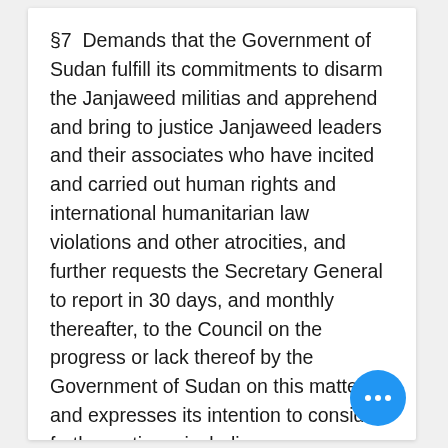§7  Demands that the Government of Sudan fulfill its commitments to disarm the Janjaweed militias and apprehend and bring to justice Janjaweed leaders and their associates who have incited and carried out human rights and international humanitarian law violations and other atrocities, and further requests the Secretary General to report in 30 days, and monthly thereafter, to the Council on the progress or lack thereof by the Government of Sudan on this matter and expresses its intention to consider further actions, including measures as provided for in Article 41 of the Ch of the United Nations.